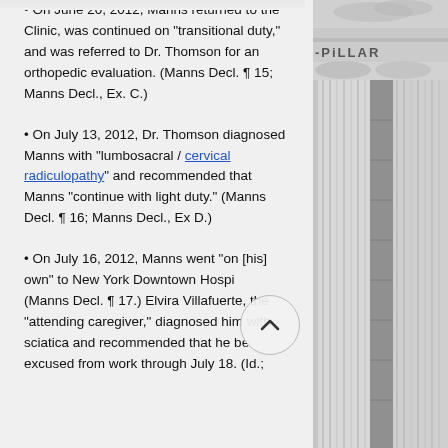• On June 20, 2012, Manns returned to the Clinic, was continued on "transitional duty," and was referred to Dr. Thomson for an orthopedic evaluation. (Manns Decl. ¶ 15; Manns Decl., Ex. C.)
• On July 13, 2012, Dr. Thomson diagnosed Manns with "lumbosacral / cervical radiculopathy" and recommended that Manns "continue with light duty." (Manns Decl. ¶ 16; Manns Decl., Ex D.)
• On July 16, 2012, Manns went "on [his] own" to New York Downtown Hospi... (Manns Decl. ¶ 17.) Elvira Villafuerte, the "attending caregiver," diagnosed him with sciatica and recommended that he be excused from work through July 18. (Id.;
[Figure (photo): Black and white photograph of a courthouse exterior showing classical columns and architectural details including a capital and entablature with 'PILLAR' text partially visible]